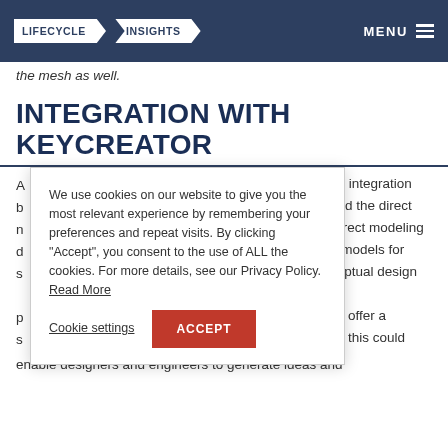LIFECYCLE INSIGHTS | MENU
the mesh as well.
INTEGRATION WITH KEYCREATOR
We use cookies on our website to give you the most relevant experience by remembering your preferences and repeat visits. By clicking “Accept”, you consent to the use of ALL the cookies. For more details, see our Privacy Policy. Read More
he integration and the direct Direct modeling e models for ceptual design es offer a so this could
enable designers and engineers to generate ideas and